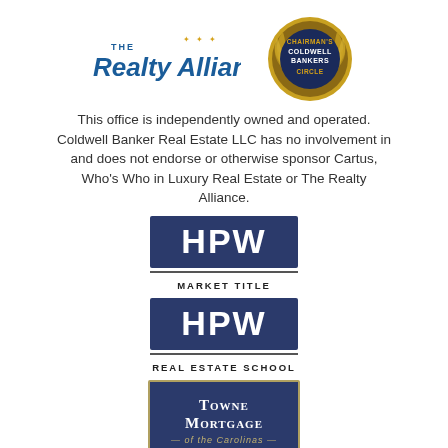[Figure (logo): The Realty Alliance logo - blue italic text with stars]
[Figure (logo): Coldwell Bankers Chairman's Circle badge - gold circular badge with laurel wreath]
This office is independently owned and operated. Coldwell Banker Real Estate LLC has no involvement in and does not endorse or otherwise sponsor Cartus, Who's Who in Luxury Real Estate or The Realty Alliance.
[Figure (logo): HPW Market Title logo - white HPW text on dark blue rectangle with MARKET TITLE below]
[Figure (logo): HPW Real Estate School logo - white HPW text on dark blue rectangle with REAL ESTATE SCHOOL below]
[Figure (logo): Towne Mortgage of the Carolinas logo - dark blue box with gold border and white text]